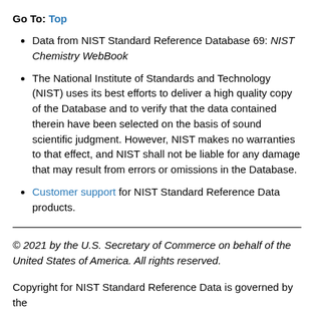Go To: Top
Data from NIST Standard Reference Database 69: NIST Chemistry WebBook
The National Institute of Standards and Technology (NIST) uses its best efforts to deliver a high quality copy of the Database and to verify that the data contained therein have been selected on the basis of sound scientific judgment. However, NIST makes no warranties to that effect, and NIST shall not be liable for any damage that may result from errors or omissions in the Database.
Customer support for NIST Standard Reference Data products.
© 2021 by the U.S. Secretary of Commerce on behalf of the United States of America. All rights reserved.
Copyright for NIST Standard Reference Data is governed by the